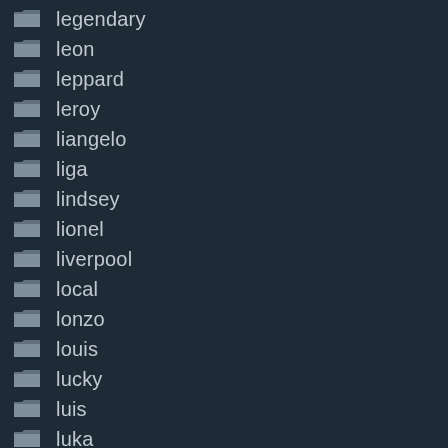legendary
leon
leppard
leroy
liangelo
liga
lindsey
lionel
liverpool
local
lonzo
louis
lucky
luis
luka
luke
luther
lynn